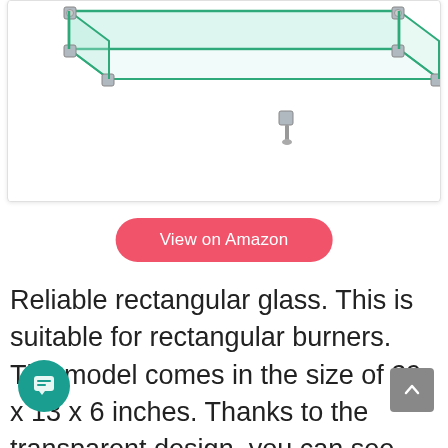[Figure (photo): Glass rectangular fire pit wind guard shelf with metal corner brackets, partial view showing transparent glass panels and chrome/silver corner fittings against white background]
View on Amazon
Reliable rectangular glass. This is suitable for rectangular burners. The model comes in the size of 29 x 13 x 6 inches. Thanks to the transparent design, you can see the beauty of the fire and enjoy the